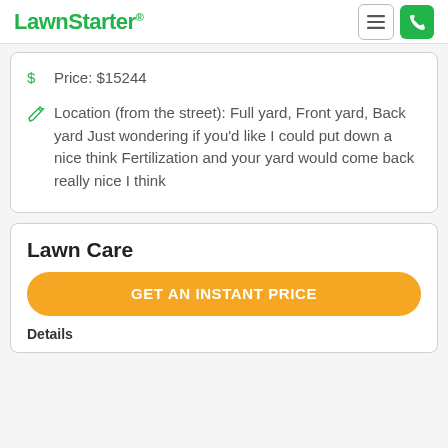LawnStarter
$ Price: $15244
Location (from the street): Full yard, Front yard, Back yard Just wondering if you'd like I could put down a nice think Fertilization and your yard would come back really nice I think
Lawn Care
GET AN INSTANT PRICE
Details